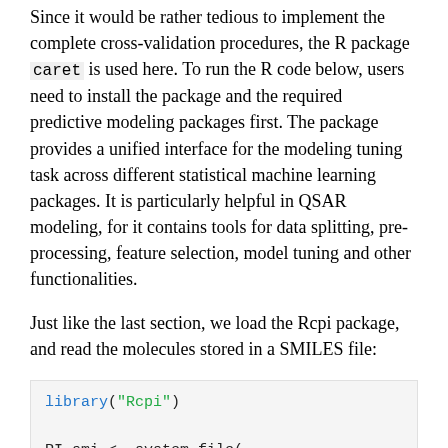Since it would be rather tedious to implement the complete cross-validation procedures, the R package caret is used here. To run the R code below, users need to install the package and the required predictive modeling packages first. The package provides a unified interface for the modeling tuning task across different statistical machine learning packages. It is particularly helpful in QSAR modeling, for it contains tools for data splitting, pre-processing, feature selection, model tuning and other functionalities.
Just like the last section, we load the Rcpi package, and read the molecules stored in a SMILES file:
library("Rcpi")

RI.smi <- system.file(
  "vignettedata/RI.smi",
  package = "Rcpi"
)
RI.csv <- system.file(